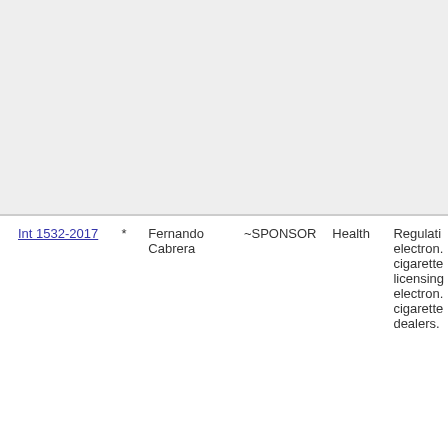| Bill |  | Sponsor | Type | Committee | Description |
| --- | --- | --- | --- | --- | --- |
| Int 1532-2017 | * | Fernando Cabrera | ~SPONSOR | Health | Regulati... electron... cigarette... licensing... electron... cigarette... dealers. |